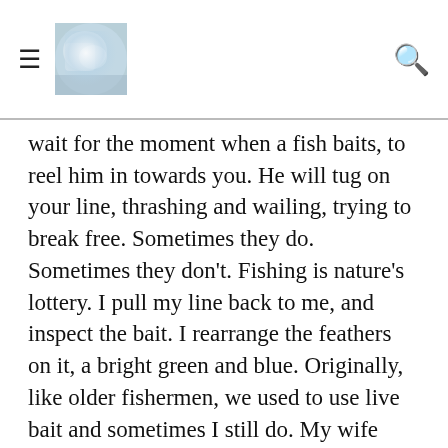[Menu icon] [Header image] [Search icon]
wait for the moment when a fish baits, to reel him in towards you. He will tug on your line, thrashing and wailing, trying to break free. Sometimes they do. Sometimes they don't. Fishing is nature's lottery. I pull my line back to me, and inspect the bait. I rearrange the feathers on it, a bright green and blue. Originally, like older fishermen, we used to use live bait and sometimes I still do. My wife cannot stand me keeping maggots in the fridge anymore, once they did escape from the box. So now I use fake bait, which works just as well, as you can play with the line to make it appear that this plastic is actually living and breathing, skimming on the water. I take my pliers out, a pair that is so old they are starting to rust, and move the head of my bait so it is nesting just right alongside the hook. My son calls this 'Death by plastic". He uses similar bait in different colours. The sun will begin to set soon, and we